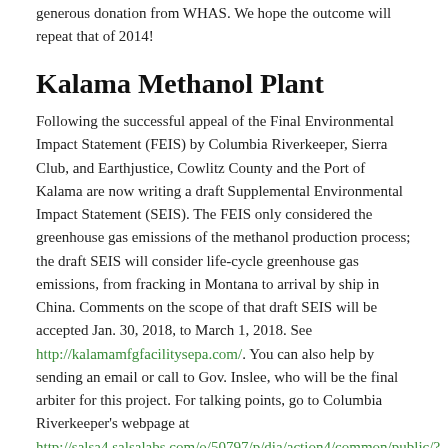generous donation from WHAS. We hope the outcome will repeat that of 2014!
Kalama Methanol Plant
Following the successful appeal of the Final Environmental Impact Statement (FEIS) by Columbia Riverkeeper, Sierra Club, and Earthjustice, Cowlitz County and the Port of Kalama are now writing a draft Supplemental Environmental Impact Statement (SEIS). The FEIS only considered the greenhouse gas emissions of the methanol production process; the draft SEIS will consider life-cycle greenhouse gas emissions, from fracking in Montana to arrival by ship in China. Comments on the scope of that draft SEIS will be accepted Jan. 30, 2018, to March 1, 2018. See http://kalamamfgfacilitysepa.com/. You can also help by sending an email or call to Gov. Inslee, who will be the final arbiter for this project. For talking points, go to Columbia Riverkeeper's webpage at http://salsa4.salsalabs.com/o/50797/p/dia/action4/common/public/?action_KEY=24033
Long Term Conservation Strategy for Marbled Murrelet